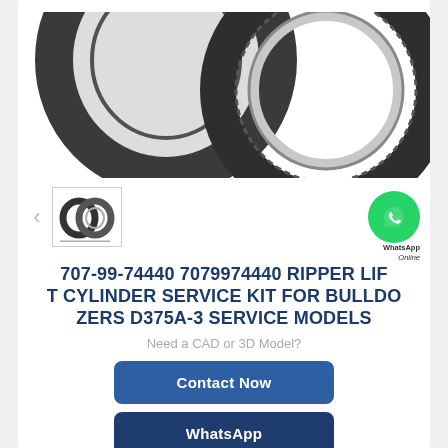[Figure (photo): Two dark gray metallic sealing rings (ripper lift cylinder service kit parts) shown against white background — one ring facing front-left, another ring larger facing front-right with silver inner edge visible]
[Figure (photo): Small thumbnail image of two overlapping dark metallic rings, shown in a bordered thumbnail box]
[Figure (logo): WhatsApp green circle logo with phone handset icon, labeled WhatsApp Online]
707-99-74440 7079974440 RIPPER LIFT CYLINDER SERVICE KIT FOR BULLDOZERS D375A-3 SERVICE MODELS
Need a CAD or 3D Model?
Contact Now
WhatsApp